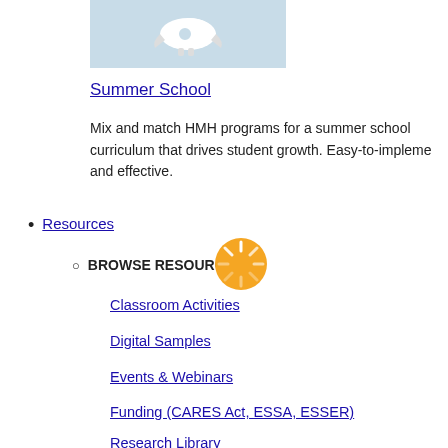[Figure (photo): White rocket on light blue background]
Summer School
Mix and match HMH programs for a summer school curriculum that drives student growth. Easy-to-implement and effective.
Resources
BROWSE RESOURCES
Classroom Activities
Digital Samples
Events & Webinars
Funding (CARES Act, ESSA, ESSER)
Research Library